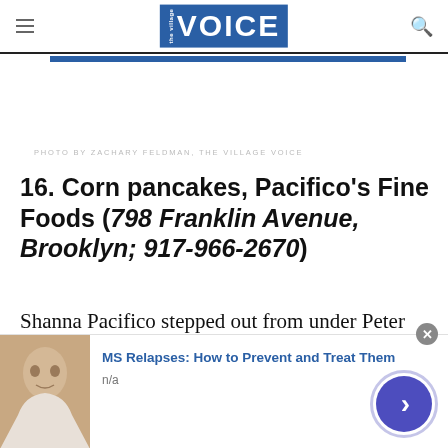the Village VOICE
PHOTO BY ZACHARY FELDMAN, THE VILLAGE VOICE
16. Corn pancakes, Pacifico's Fine Foods (798 Franklin Avenue, Brooklyn; 917-966-2670)
Shanna Pacifico stepped out from under Peter Hoffman's shadow this year to open Pacifico's Fine Foods, a cheery Crown Heights canteen doling out Latin-influenced New American cuisine. On a
[Figure (photo): Advertisement banner featuring a woman's portrait photo with text: MS Relapses: How to Prevent and Treat Them, n/a]